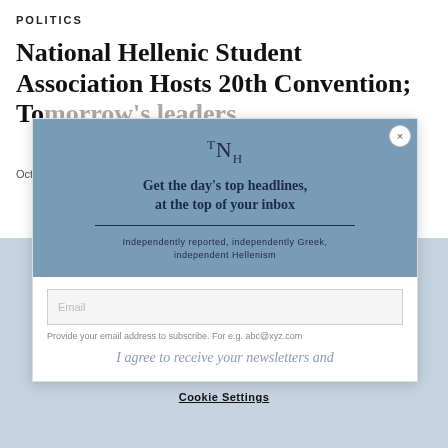POLITICS
National Hellenic Student Association Hosts 20th Convention: To...
Oct...
[Figure (screenshot): Newsletter subscription modal with TNH logo, headline 'Get the day’s top headlines, at the top of your inbox', tagline 'Independently reported, independently Greek, independent Hellenism', email input field, and agree text.]
In order to deliver a more personalized, responsive, and improved experience, we use cookies to remember information about how you use this site. By Continuing to access the website, you agree that we will store data in a cookie as outlined in our Privacy Policy.
ACCEPT
Cookie Settings